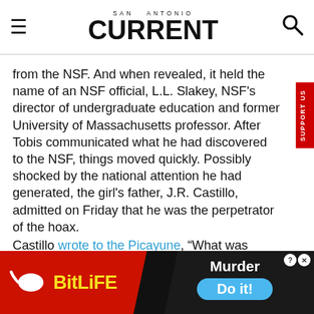SAN ANTONIO CURRENT
from the NSF. And when revealed, it held the name of an NSF official, L.L. Slakey, NSF's director of undergraduate education and former University of Massachusetts professor. After Tobis communicated what he had discovered to the NSF, things moved quickly. Possibly shocked by the national attention he had generated, the girl's father, J.R. Castillo, admitted on Friday that he was the perpetrator of the hoax.
Castillo wrote to the Picayune, “What was intended to be a way to honor our daughter for a job well done on her project has really gotten out of hand and we’re ready to…
[Figure (screenshot): Advertisement banner: BitLife game ad on left (red background, sperm icon, yellow BitLife text) and Murder game ad on right (dark background, Murder label, blue Do it! button)]